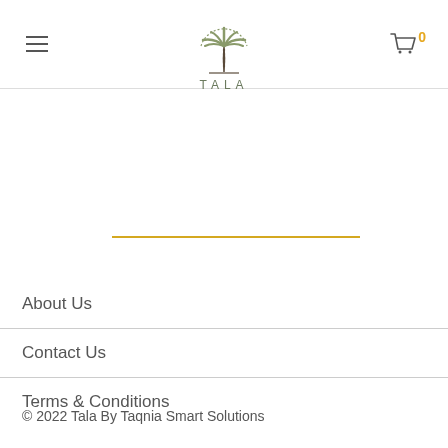TALA
[Figure (logo): Palm tree logo with semicircle top and the word TALA below]
About Us
Contact Us
Terms & Conditions
© 2022 Tala By Taqnia Smart Solutions